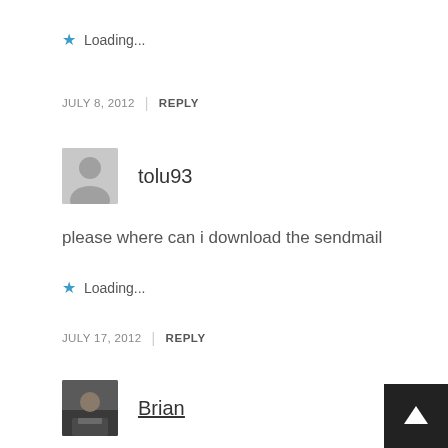★ Loading...
JULY 8, 2012 | REPLY
tolu93
please where can i download the sendmail
★ Loading...
JULY 17, 2012 | REPLY
Brian